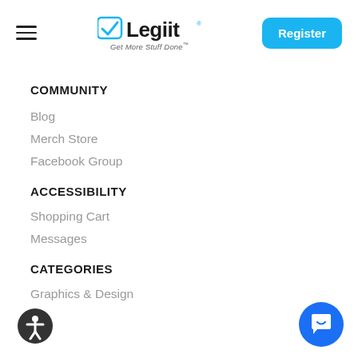Legiit - Get More Stuff Done - Register
COMMUNITY
Blog
Merch Store
Facebook Group
ACCESSIBILITY
Shopping Cart
Messages
CATEGORIES
Graphics & Design